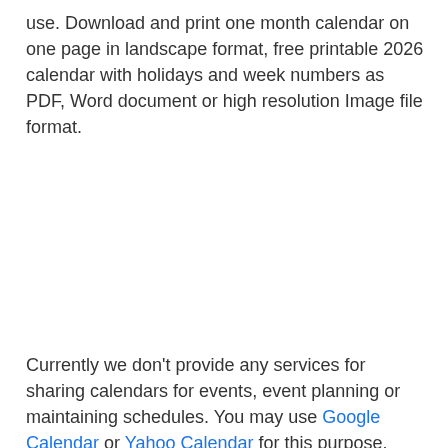use. Download and print one month calendar on one page in landscape format, free printable 2026 calendar with holidays and week numbers as PDF, Word document or high resolution Image file format.
Currently we don't provide any services for sharing calendars for events, event planning or maintaining schedules. You may use Google Calendar or Yahoo Calendar for this purpose.